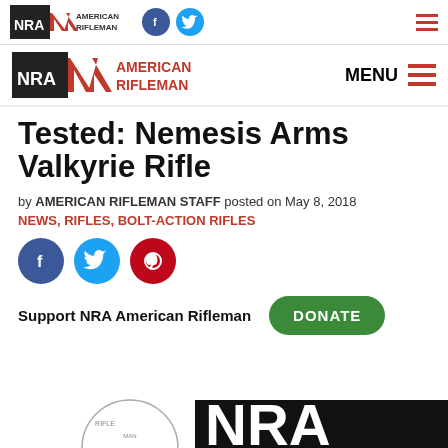NRA American Rifleman — top navigation bar with logo, Facebook and Twitter icons, and hamburger menu
NRA American Rifleman — secondary navigation bar with large logo and MENU button
Tested: Nemesis Arms Valkyrie Rifle
by AMERICAN RIFLEMAN STAFF posted on May 8, 2018
NEWS, RIFLES, BOLT-ACTION RIFLES
[Figure (infographic): Row of three social sharing icons: Facebook (blue circle), Twitter (blue circle), Pinterest (red circle)]
Support NRA American Rifleman  DONATE
[Figure (logo): Partial NRA logo visible at bottom of page]